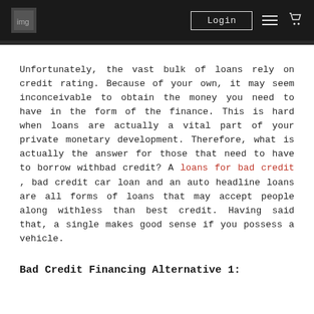Login
Unfortunately, the vast bulk of loans rely on credit rating. Because of your own, it may seem inconceivable to obtain the money you need to have in the form of the finance. This is hard when loans are actually a vital part of your private monetary development. Therefore, what is actually the answer for those that need to have to borrow withbad credit? A loans for bad credit , bad credit car loan and an auto headline loans are all forms of loans that may accept people along withless than best credit. Having said that, a single makes good sense if you possess a vehicle.
Bad Credit Financing Alternative 1: